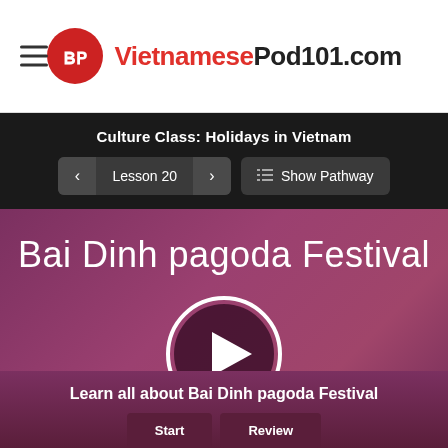VietnamesePod101.com
Culture Class: Holidays in Vietnam
Lesson 20
Show Pathway
Bai Dinh pagoda Festival
[Figure (other): Play button circle for video]
Learn all about Bai Dinh pagoda Festival